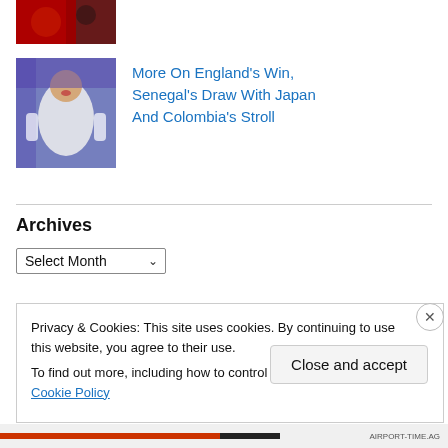[Figure (photo): Partial view of football players in red jerseys, cropped at top]
[Figure (photo): Football player in white England jersey celebrating]
More On England's Win, Senegal's Draw With Japan And Colombia's Stroll
Archives
Select Month
Privacy & Cookies: This site uses cookies. By continuing to use this website, you agree to their use.
To find out more, including how to control cookies, see here: Cookie Policy
Close and accept